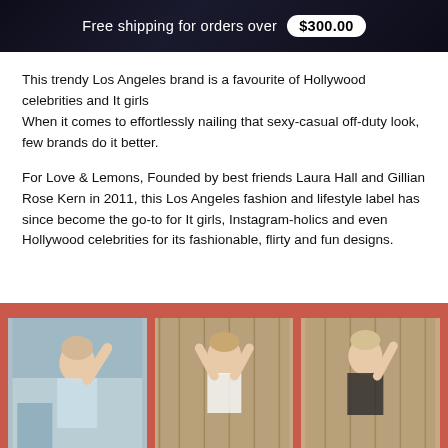Free shipping for orders over $300.00
This trendy Los Angeles brand is a favourite of Hollywood celebrities and It girls
When it comes to effortlessly nailing that sexy-casual off-duty look, few brands do it better.
For Love & Lemons, Founded by best friends Laura Hall and Gillian Rose Kern in 2011, this Los Angeles fashion and lifestyle label has since become the go-to for It girls, Instagram-holics and even Hollywood celebrities for its fashionable, flirty and fun designs.
[Figure (photo): Three photos of a blonde female model posing in lingerie/bralette clothing against a wood-paneled background, displayed side by side on a coral/red background.]